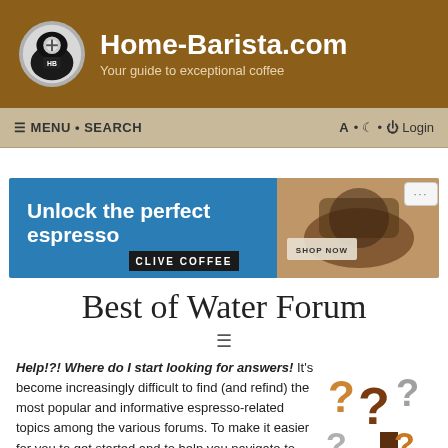Home-Barista.com — Your guide to exceptional coffee
≡ MENU • SEARCH    A • ☾ • ⏻ Login
[Figure (screenshot): Advertisement banner: 'Unlock the perfect espresso — CLIVE COFFEE — SHOP NOW' with espresso portafilter image on blue background]
Best of Water Forum
Help!?! Where do I start looking for answers! It's become increasingly difficult to find (and refind) the most popular and informative espresso-related topics among the various forums. To make it easier for you to get started and to help you navigate to topics that interest you, this article contains links to the best topics, categorized by forum and subject area.